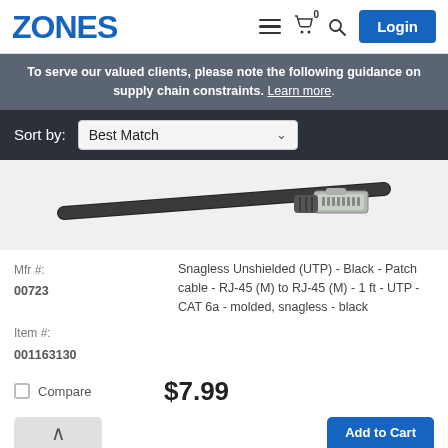ZONES
To serve our valued clients, please note the following guidance on supply chain constraints. Learn more.
Sort by: Best Match
[Figure (photo): Photo of a black ethernet patch cable (CAT 6a) with RJ-45 connector visible]
Mfr #: 00723
Item #: 001163130
Snagless Unshielded (UTP) - Black - Patch cable - RJ-45 (M) to RJ-45 (M) - 1 ft - UTP - CAT 6a - molded, snagless - black
Compare
$7.99